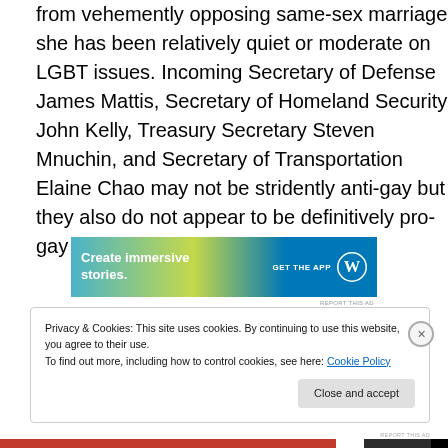from vehemently opposing same-sex marriage she has been relatively quiet or moderate on LGBT issues. Incoming Secretary of Defense James Mattis, Secretary of Homeland Security John Kelly, Treasury Secretary Steven Mnuchin, and Secretary of Transportation Elaine Chao may not be stridently anti-gay but they also do not appear to be definitively pro-gay either.
[Figure (other): Advertisement banner: 'Create immersive stories. GET THE APP' with WordPress logo on blue-green gradient background.]
REPORT THIS AD
Privacy & Cookies: This site uses cookies. By continuing to use this website, you agree to their use.
To find out more, including how to control cookies, see here: Cookie Policy
Close and accept